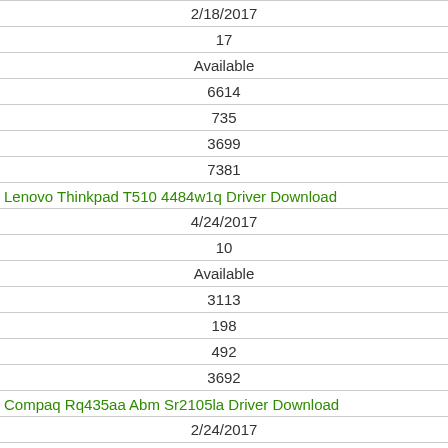| 2/18/2017 |
| 17 |
| Available |
| 6614 |
| 735 |
| 3699 |
| 7381 |
| Lenovo Thinkpad T510 4484w1q Driver Download |
| 4/24/2017 |
| 10 |
| Available |
| 3113 |
| 198 |
| 492 |
| 3692 |
| Compaq Rq435aa Abm Sr2105la Driver Download |
| 2/24/2017 |
| 27 |
| Available |
| 5733 |
| 106 |
| 357 |